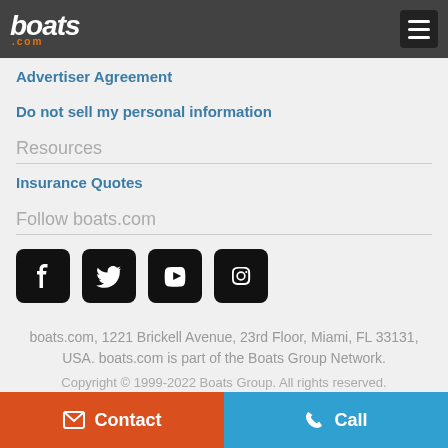boats.com
Advertiser Agreement
Do not sell my personal information
Resources
Insurance Quotes
Follow boats.com
[Figure (infographic): Social media icons: Facebook, Twitter, YouTube, Instagram]
boats.com, 1221 Brickell Avenue, 23rd Floor, Miami, FL 33131, USA. boats.com is part of the Boats Group Network. Copyright © 1999-2022 Boats Group. All rights reserved.